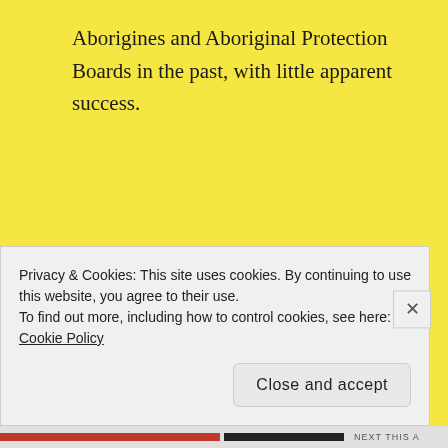Aborigines and Aboriginal Protection Boards in the past, with little apparent success.
The persuasion for this campaign is founded on the wave of Woke thinking which is sweeping the old, democratic Western societies, which recently saw off ScoMo and the LNP.
Privacy & Cookies: This site uses cookies. By continuing to use this website, you agree to their use.
To find out more, including how to control cookies, see here: Cookie Policy